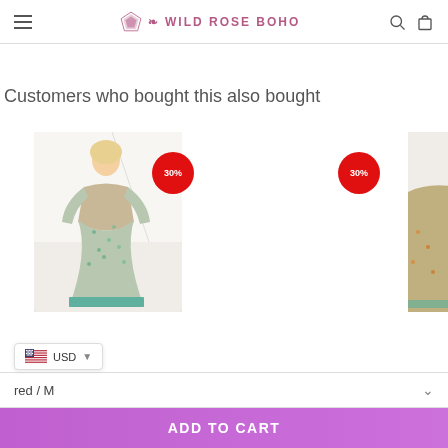Wild Rose Boho
Customers who bought this also bought
[Figure (photo): Product photo of a floral boho maxi dress worn by a woman, with a 30% discount badge overlay]
[Figure (photo): Partial product photo on the right side with a 30% discount badge overlay]
USD
red / M
ADD TO CART